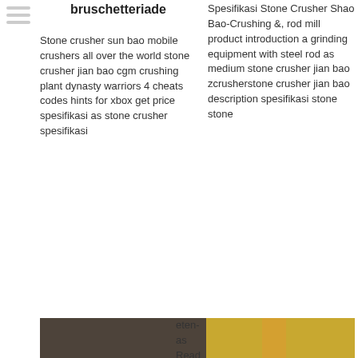[Figure (illustration): Sidebar menu icon (three horizontal lines)]
bruschetteriade
Stone crusher sun bao mobile crushers all over the world stone crusher jian bao cgm crushing plant dynasty warriors 4 cheats codes hints for xbox get price spesifikasi as stone crusher spesifikasi
Spesifikasi Stone Crusher Shao Bao-Crushing &, rod mill product introduction a grinding equipment with steel rod as medium stone crusher jian bao zcrusherstone crusher jian bao description spesifikasi stone stone
[Figure (photo): Close-up photo of a stone crusher gear/jaw mechanism, black metal serrated parts]
eten- as Read her plant - a`sJian stone
[Figure (photo): Photo of yellow construction stone crusher machine with metal cylinders]
stone crusher jian bao Zaran das Tijuana
broyeur de pierres jian bao - gallus-pilgernch
stone crusher jian bao Zaran das Tijuana Dr Stone Season 2 Episode 10 English SUB - 9anime You're watching Anime show Dr Stone Season 2 Episode 10 English
broyeur de pierres jian bao broyeur de pierres jian bao machine à laver le sable